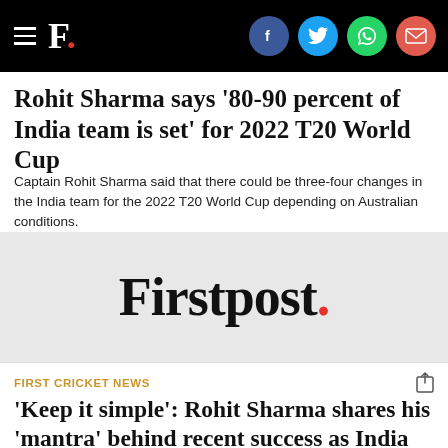F. [Firstpost logo with social icons: Facebook, Twitter, WhatsApp, Email]
Rohit Sharma says '80-90 percent of India team is set' for 2022 T20 World Cup
Captain Rohit Sharma said that there could be three-four changes in the India team for the 2022 T20 World Cup depending on Australian conditions.
[Figure (logo): Firstpost logo in large serif font with red period on grey background]
FIRST CRICKET NEWS
'Keep it simple': Rohit Sharma shares his 'mantra' behind recent success as India captain